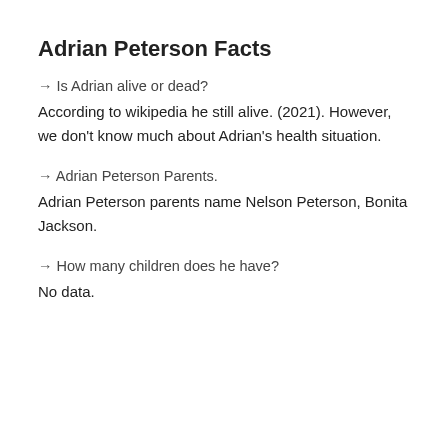Adrian Peterson Facts
→ Is Adrian alive or dead?
According to wikipedia he still alive. (2021). However, we don't know much about Adrian's health situation.
→ Adrian Peterson Parents.
Adrian Peterson parents name Nelson Peterson, Bonita Jackson.
→ How many children does he have?
No data.